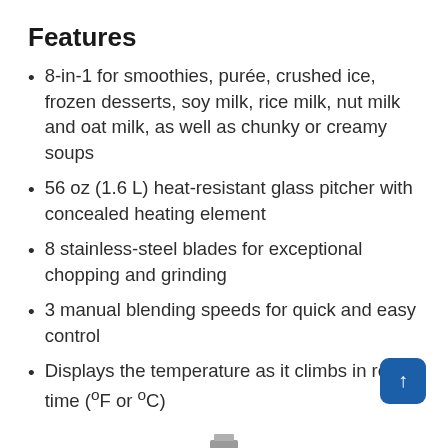Features
8-in-1 for smoothies, purée, crushed ice, frozen desserts, soy milk, rice milk, nut milk and oat milk, as well as chunky or creamy soups
56 oz (1.6 L) heat-resistant glass pitcher with concealed heating element
8 stainless-steel blades for exceptional chopping and grinding
3 manual blending speeds for quick and easy control
Displays the temperature as it climbs in real time (°F or °C)
[Figure (other): Partial view of a blender base/bottom at the bottom of the page]